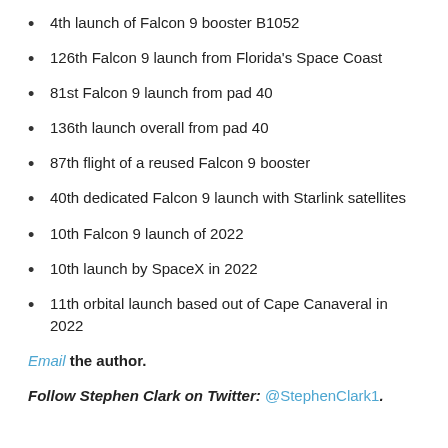4th launch of Falcon 9 booster B1052
126th Falcon 9 launch from Florida's Space Coast
81st Falcon 9 launch from pad 40
136th launch overall from pad 40
87th flight of a reused Falcon 9 booster
40th dedicated Falcon 9 launch with Starlink satellites
10th Falcon 9 launch of 2022
10th launch by SpaceX in 2022
11th orbital launch based out of Cape Canaveral in 2022
Email the author.
Follow Stephen Clark on Twitter: @StephenClark1.